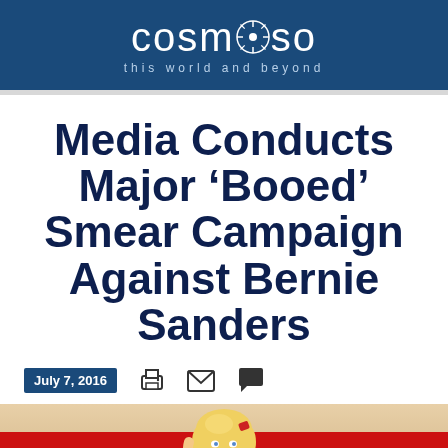cosm✱so — this world and beyond
Media Conducts Major ‘Booed’ Smear Campaign Against Bernie Sanders
July 7, 2016
[Figure (illustration): Illustrated cartoon figure of a blonde woman in a patriotic/American style outfit with a red horizontal band in the background]